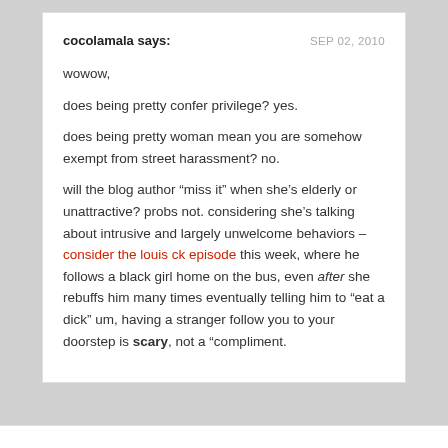cocolamala says:    SEP 02, 2010
wowow,
does being pretty confer privilege? yes.
does being pretty woman mean you are somehow exempt from street harassment? no.
will the blog author “miss it” when she’s elderly or unattractive? probs not. considering she’s talking about intrusive and largely unwelcome behaviors – consider the louis ck episode this week, where he follows a black girl home on the bus, even after she rebuffs him many times eventually telling him to “eat a dick” um, having a stranger follow you to your doorstep is scary, not a “compliment.